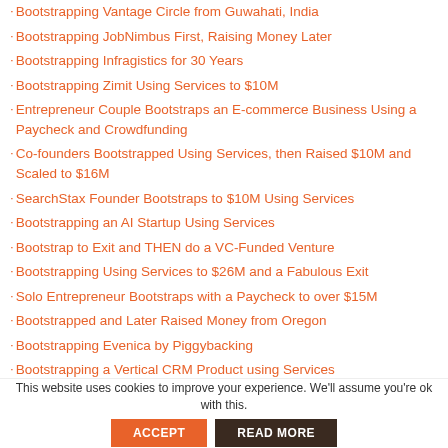Bootstrapping Vantage Circle from Guwahati, India
Bootstrapping JobNimbus First, Raising Money Later
Bootstrapping Infragistics for 30 Years
Bootstrapping Zimit Using Services to $10M
Entrepreneur Couple Bootstraps an E-commerce Business Using a Paycheck and Crowdfunding
Co-founders Bootstrapped Using Services, then Raised $10M and Scaled to $16M
SearchStax Founder Bootstraps to $10M Using Services
Bootstrapping an AI Startup Using Services
Bootstrap to Exit and THEN do a VC-Funded Venture
Bootstrapping Using Services to $26M and a Fabulous Exit
Solo Entrepreneur Bootstraps with a Paycheck to over $15M
Bootstrapped and Later Raised Money from Oregon
Bootstrapping Evenica by Piggybacking
Bootstrapping a Vertical CRM Product using Services
Bootstrapping Using Services from Helsinki, Finland
Solo Entrepreneur Bootstraps First, Raises Money Later in Utah
Act.com Co-founders Bootstrapping First, Raising $38M Later
This website uses cookies to improve your experience. We'll assume you're ok with this.
ACCEPT
READ MORE